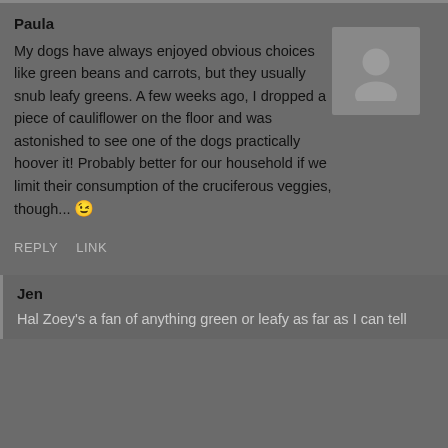Paula
My dogs have always enjoyed obvious choices like green beans and carrots, but they usually snub leafy greens. A few weeks ago, I dropped a piece of cauliflower on the floor and was astonished to see one of the dogs practically hoover it! Probably better for our household if we limit their consumption of the cruciferous veggies, though... 😉
REPLY   LINK
Jen
Hal Zoey's a fan of anything green or leafy as far as I can tell